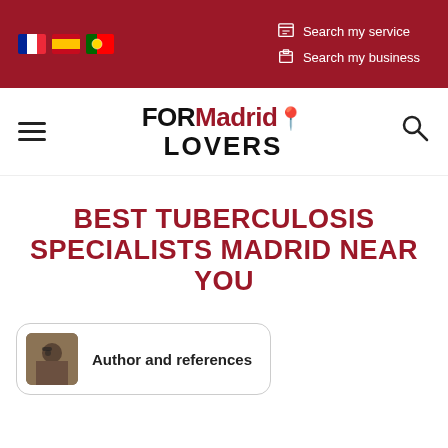[Figure (screenshot): Website header with dark red background, flag icons for France, Spain, Portugal, and two search links: 'Search my service' and 'Search my business']
[Figure (logo): FORMadrid LOVERS logo with navigation hamburger menu on left and search icon on right]
BEST TUBERCULOSIS SPECIALISTS MADRID NEAR YOU
Author and references